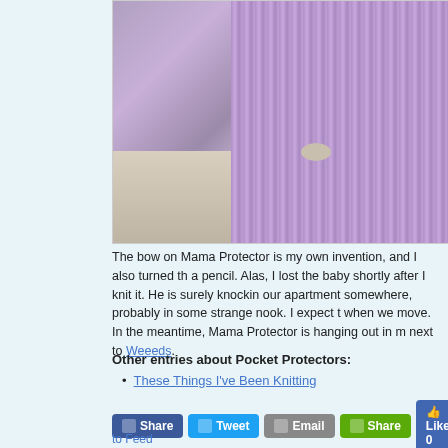[Figure (photo): Close-up photo of a purple knitted stuffed animal (Mama Protector) sitting on a sandy/concrete surface, showing the body and lower portion of the knitted toy]
The bow on Mama Protector is my own invention, and I also turned th... a pencil. Alas, I lost the baby shortly after I knit it. He is surely knockin... our apartment somewhere, probably in some strange nook. I expect t... when we move. In the meantime, Mama Protector is hanging out in m... next to Weeeds.
Other entries about Pocket Protectors:
These Things I've Been Knitting